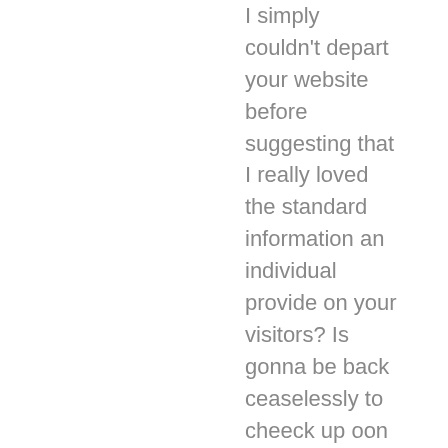I simply couldn't depart your website before suggesting that I really loved the standard information an individual provide on your visitors? Is gonna be back ceaselessly to cheeck up oon neww posts
Stop by my site: køb viagra sikkert på nettet
FifineOrot
15 août 2022
free bonus casino
best online casino us
top mobile casino
GwenoreOrot
16 août 2022
no deposit online casino bonus
best casino welcome bonus